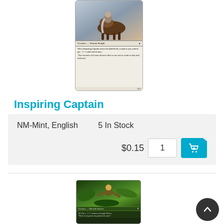[Figure (illustration): Magic: The Gathering card named Inspiring Captain showing a mounted knight on horseback, Creature — Human Knight, 3/3]
Inspiring Captain
NM-Mint, English    5 In Stock
$0.15
[Figure (illustration): Magic: The Gathering card named Jungle Delver showing a merfolk warrior in jungle setting, Creature — Merfolk Warrior]